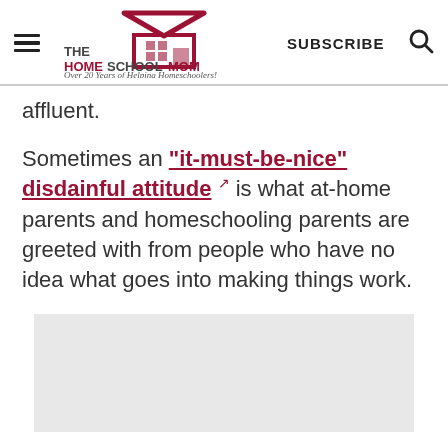THE HOMESCHOOL MOM — Over 20 Years of Helping Homeschoolers! | SUBSCRIBE | [search]
affluent.
Sometimes an "it-must-be-nice" disdainful attitude is what at-home parents and homeschooling parents are greeted with from people who have no idea what goes into making things work.
[Figure (other): Gray advertisement placeholder box]